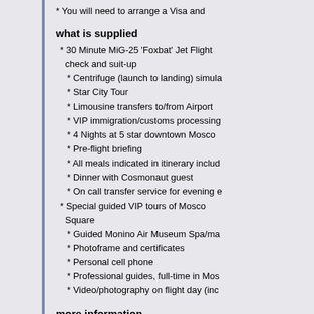* You will need to arrange a Visa and
what is supplied
* 30 Minute MiG-25 'Foxbat' Jet Flight check and suit-up
* Centrifuge (launch to landing) simula
* Star City Tour
* Limousine transfers to/from Airport
* VIP immigration/customs processing
* 4 Nights at 5 star downtown Mosco
* Pre-flight briefing
* All meals indicated in itinerary includ
* Dinner with Cosmonaut guest
* On call transfer service for evening e
* Special guided VIP tours of Moscow Square
* Guided Monino Air Museum Spa/ma
* Photoframe and certificates
* Personal cell phone
* Professional guides, full-time in Mos
* Video/photography on flight day (inc
more information